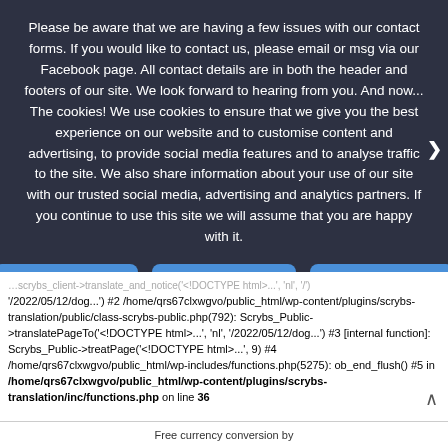Please be aware that we are having a few issues with our contact forms. If you would like to contact us, please email or msg via our Facebook page. All contact details are in both the header and footers of our site. We look forward to hearing from you. And now... The cookies! We use cookies to ensure that we give you the best experience on our website and to customise content and advertising, to provide social media features and to analyse traffic to the site. We also share information about your use of our site with our trusted social media, advertising and analytics partners. If you continue to use this site we will assume that you are happy with it.
I Agree!
No
Read more
'/2022/05/12/dog...') #2 /home/qrs67clxwgvo/public_html/wp-content/plugins/scrybs-translation/public/class-scrybs-public.php(792): Scrybs_Public->translatePageTo('<!DOCTYPE html>...', 'nl', '/2022/05/12/dog...') #3 [internal function]: Scrybs_Public->treatPage('<!DOCTYPE html>...', 9) #4 /home/qrs67clxwgvo/public_html/wp-includes/functions.php(5275): ob_end_flush() #5 in /home/qrs67clxwgvo/public_html/wp-content/plugins/scrybs-translation/inc/functions.php on line 36
Free currency conversion by